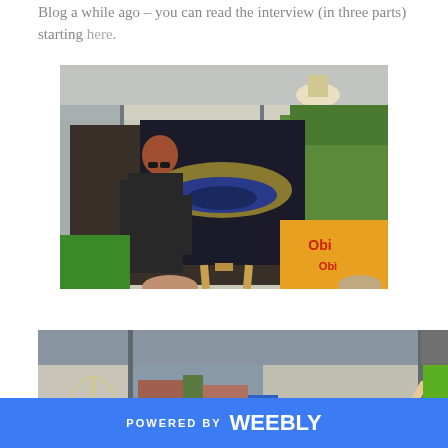Blog a while ago – you can read the interview (in three parts) starting here.
[Figure (photo): A man in dark clothing standing next to a painting on an easel in what appears to be a shop or gallery interior with green foliage visible through windows.]
[Figure (photo): Interior scene showing people in what appears to be a shop or gallery space with hands raised, bright green signage visible on the right side.]
POWERED BY weebly